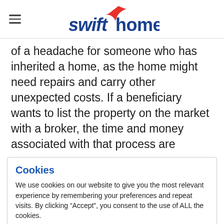swifthomes
of a headache for someone who has inherited a home, as the home might need repairs and carry other unexpected costs. If a beneficiary wants to list the property on the market with a broker, the time and money associated with that process are
Cookies
We use cookies on our website to give you the most relevant experience by remembering your preferences and repeat visits. By clicking “Accept”, you consent to the use of ALL the cookies.
Do not sell my personal information.
Cookie Settings  Accept